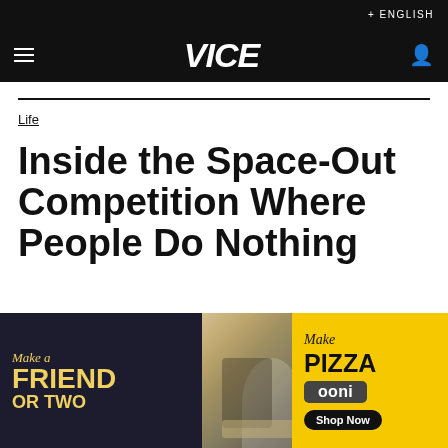+ ENGLISH
VICE
Life
Inside the Space-Out Competition Where People Do Nothing
[Figure (photo): Advertisement banner for Ooni pizza oven featuring dogs, people at a picnic, and text: Make a Friend or Two / Make Pizza / ooni / Shop Now]